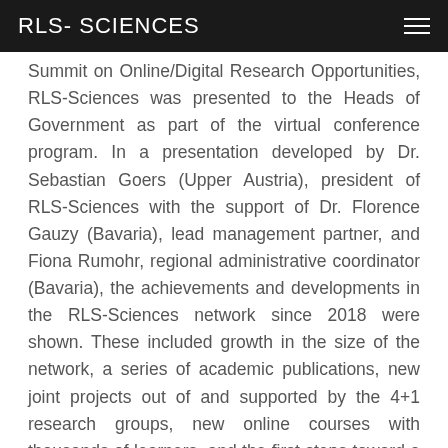RLS- SCIENCES
Summit on Online/Digital Research Opportunities, RLS-Sciences was presented to the Heads of Government as part of the virtual conference program. In a presentation developed by Dr. Sebastian Goers (Upper Austria), president of RLS-Sciences with the support of Dr. Florence Gauzy (Bavaria), lead management partner, and Fiona Rumohr, regional administrative coordinator (Bavaria), the achievements and developments in the RLS-Sciences network since 2018 were shown. These included growth in the size of the network, a series of academic publications, new joint projects out of and supported by the 4+1 research groups, new online courses with thousands of learners, and the first steps toward a new RLS-Sciences research group in digital health. Review the presentation